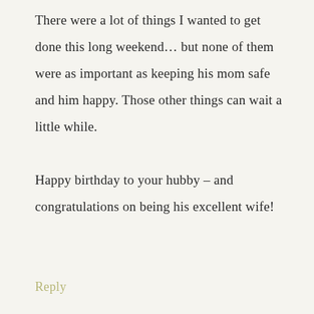There were a lot of things I wanted to get done this long weekend… but none of them were as important as keeping his mom safe and him happy. Those other things can wait a little while.

Happy birthday to your hubby – and congratulations on being his excellent wife!
Reply